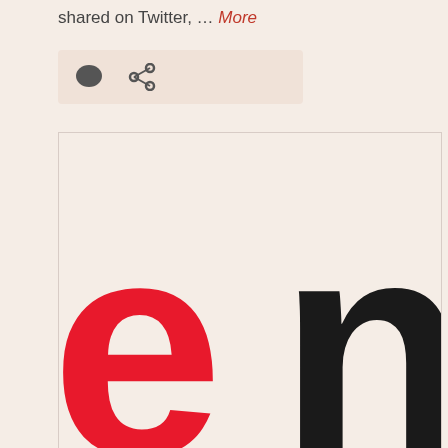shared on Twitter, … More
[Figure (screenshot): Icon bar with comment bubble and link/share icons on a warm beige background]
[Figure (illustration): Large cropped letters 'en' — 'e' in red and 'n' in dark charcoal/black — displayed on a cream/beige background, appearing to be a typography or branding image]